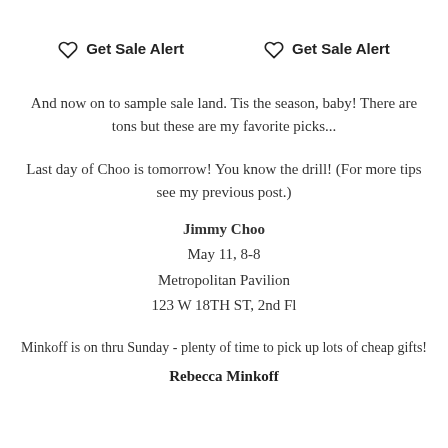Get Sale Alert   Get Sale Alert
And now on to sample sale land. Tis the season, baby! There are tons but these are my favorite picks...
Last day of Choo is tomorrow! You know the drill! (For more tips see my previous post.)
Jimmy Choo
May 11, 8-8
Metropolitan Pavilion
123 W 18TH ST, 2nd Fl
Minkoff is on thru Sunday - plenty of time to pick up lots of cheap gifts!
Rebecca Minkoff